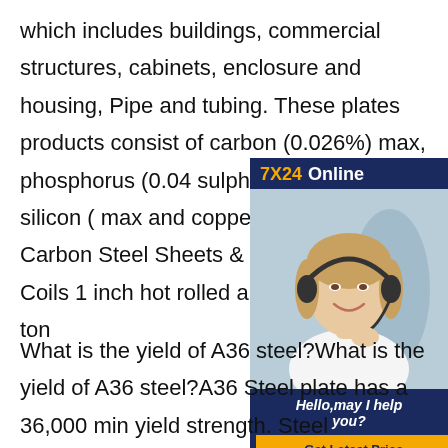which includes buildings, commercial structures, cabinets, enclosure and housing, Pipe and tubing. These plates products consist of carbon (0.026%) max, phosphorus (0.04 sulphuric (0.05%) max, silicon ( max and copper (0.2%) max.AS Carbon Steel Sheets & Plates, A A36 CS Coils 1 inch hot rolled a plate price per ton
[Figure (other): Advertisement box with '7X24 Online' header in dark blue, a photo of a woman wearing a headset smiling, and a dark blue footer with italic text 'Hello,may I help you?' and a yellow 'Get Latest Price' button.]
What is the yield of A36 steel?What is the yield of A36 steel?A36 Steel plate has a 36,000 min yield strength. Steel